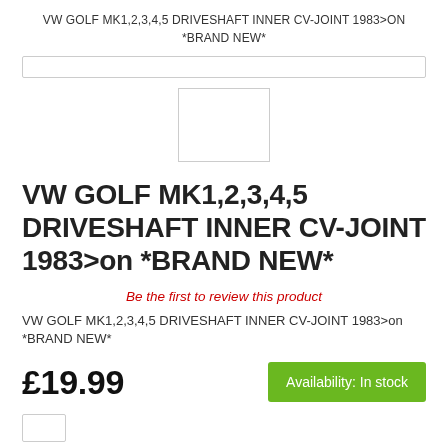VW GOLF MK1,2,3,4,5 DRIVESHAFT INNER CV-JOINT 1983>ON *BRAND NEW*
[Figure (other): Search bar / navigation bar placeholder]
[Figure (photo): Product image placeholder (white box with border)]
VW GOLF MK1,2,3,4,5 DRIVESHAFT INNER CV-JOINT 1983>on *BRAND NEW*
Be the first to review this product
VW GOLF MK1,2,3,4,5 DRIVESHAFT INNER CV-JOINT 1983>on *BRAND NEW*
£19.99
Availability: In stock